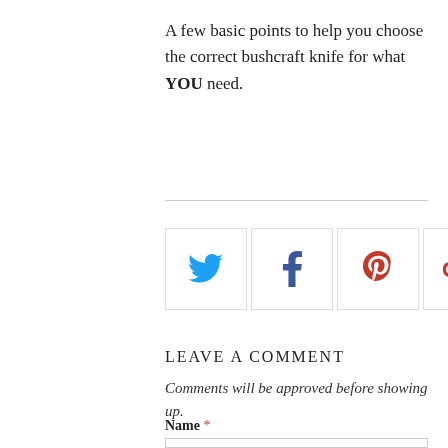A few basic points to help you choose the correct bushcraft knife for what YOU need.
[Figure (other): Social share buttons row: Twitter (blue bird icon), Facebook (blue f icon), Pinterest (red P icon), Google+ (red G+ icon), Email (envelope icon) — each in a square bordered box]
LEAVE A COMMENT
Comments will be approved before showing up.
Name *